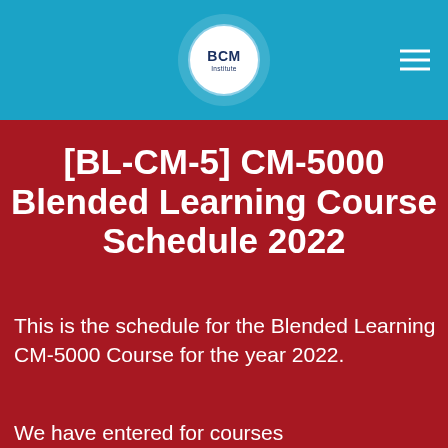BCM Institute
[BL-CM-5] CM-5000 Blended Learning Course Schedule 2022
This is the schedule for the Blended Learning CM-5000 Course for the year 2022.
We have entered for courses